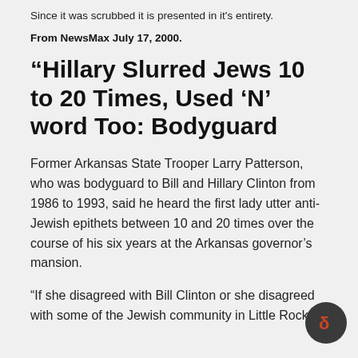Since it was scrubbed it is presented in it's entirety.
From NewsMax July 17, 2000.
“Hillary Slurred Jews 10 to 20 Times, Used ‘N’ word Too: Bodyguard
Former Arkansas State Trooper Larry Patterson, who was bodyguard to Bill and Hillary Clinton from 1986 to 1993, said he heard the first lady utter anti-Jewish epithets between 10 and 20 times over the course of his six years at the Arkansas governor’s mansion.
“If she disagreed with Bill Clinton or she disagreed with some of the Jewish community in Little Rock